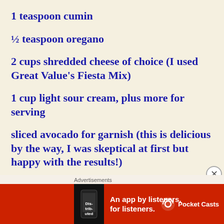1 teaspoon cumin
½ teaspoon oregano
2 cups shredded cheese of choice (I used Great Value's Fiesta Mix)
1 cup light sour cream, plus more for serving
sliced avocado for garnish (this is delicious by the way, I was skeptical at first but happy with the results!)
[Figure (screenshot): Advertisement banner for Pocket Casts app with red background, showing phone image and text 'An app by listeners, for listeners.' with Pocket Casts logo]